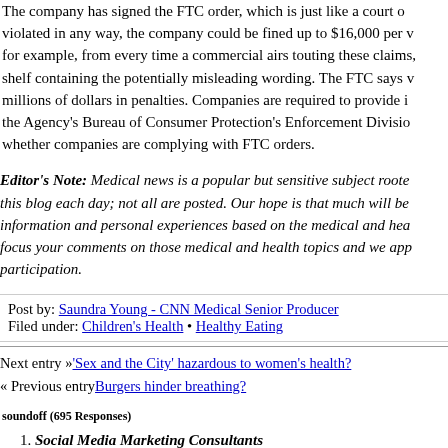The company has signed the FTC order, which is just like a court order. If violated in any way, the company could be fined up to $16,000 per violation — for example, from every time a commercial airs touting these claims, or from every shelf containing the potentially misleading wording. The FTC says violations can total millions of dollars in penalties. Companies are required to provide information to the Agency's Bureau of Consumer Protection's Enforcement Division, which monitors whether companies are complying with FTC orders.
Editor's Note: Medical news is a popular but sensitive subject rooted in science. We receive many comments on this blog each day; not all are posted. Our hope is that much will be learned from the sharing of useful information and personal experiences based on the medical and health topics below. We encourage you to focus your comments on those medical and health topics and we appreciate your interest and participation.
Post by: Saundra Young - CNN Medical Senior Producer
Filed under: Children's Health • Healthy Eating
Next entry »'Sex and the City' hazardous to women's health?
« Previous entry Burgers hinder breathing?
soundoff (695 Responses)
Social Media Marketing Consultants
Hi, I do believe this is a great web site. I stumbledupon it 😊